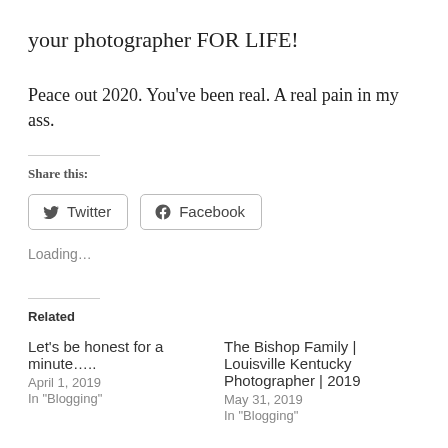your photographer FOR LIFE!
Peace out 2020. You’ve been real. A real pain in my ass.
Share this:
Twitter   Facebook
Loading…
Related
Let’s be honest for a minute…..
April 1, 2019
In “Blogging”
The Bishop Family | Louisville Kentucky Photographer | 2019
May 31, 2019
In “Blogging”